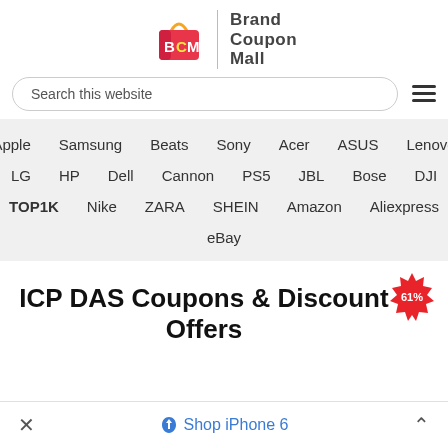[Figure (logo): Brand Coupon Mall logo with shopping bag icon containing BCM letters in red and yellow on pink/red bag]
Search this website
Apple
Samsung
Beats
Sony
Acer
ASUS
Lenovo
LG
HP
Dell
Cannon
PS5
JBL
Bose
DJI
TOP1K
Nike
ZARA
SHEIN
Amazon
Aliexpress
eBay
ICP DAS Coupons & Discount Offers
× 🏷 Shop iPhone 6 ^